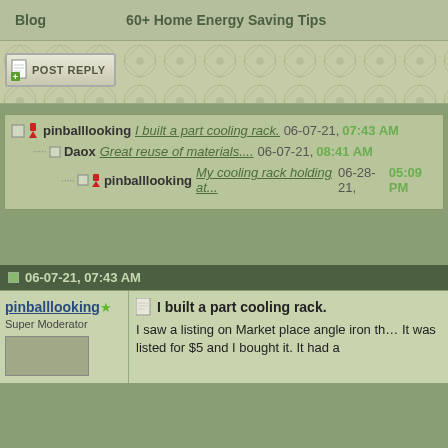Blog   60+ Home Energy Saving Tips
[Figure (screenshot): Decorative banner with geometric pattern and POST REPLY button]
pinballlooking  I built a part cooling rack.  06-07-21,  07:43 AM
Daox  Great reuse of materials....  06-07-21,  08:41 AM
pinballlooking  My cooling rack holding at...  06-28-21,  05:09 PM
06-07-21, 07:43 AM
pinballlooking
Super Moderator
I built a part cooling rack.
I saw a listing on Market place angle iron th... It was listed for $5 and I bought it. It had a